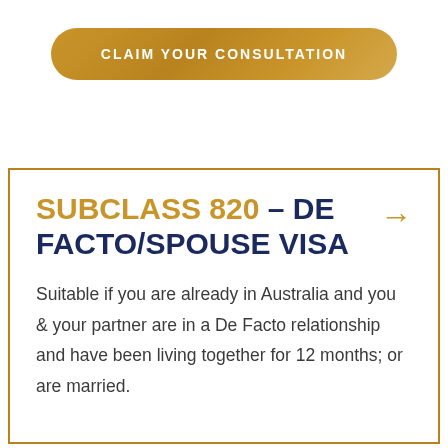[Figure (other): Gold gradient pill-shaped button with text CLAIM YOUR CONSULTATION in white uppercase letters]
SUBCLASS 820 – DE FACTO/SPOUSE VISA
Suitable if you are already in Australia and you & your partner are in a De Facto relationship and have been living together for 12 months; or are married.